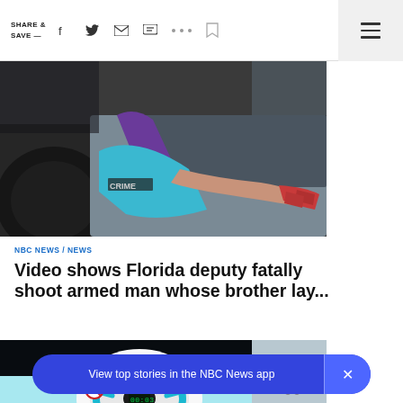SHARE & SAVE — [social icons: facebook, twitter, email, message, more, bookmark] [hamburger menu]
[Figure (photo): Video still showing a person in a purple shirt and blue clothing near a vehicle, with a bloody hand visible]
NBC NEWS / NEWS
Video shows Florida deputy fatally shoot armed man whose brother lay...
[Figure (photo): Image of a teal/turquoise steering wheel with a digital display showing 00:03]
View top stories in the NBC News app